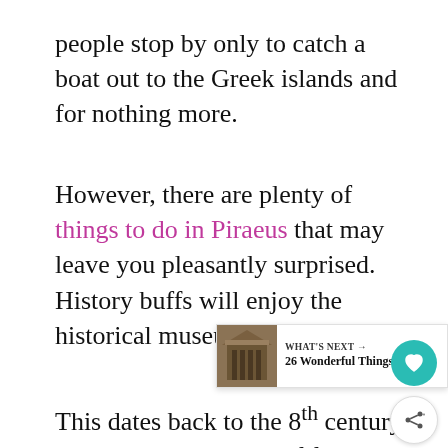people stop by only to catch a boat out to the Greek islands and for nothing more.
However, there are plenty of things to do in Piraeus that may leave you pleasantly surprised. History buffs will enjoy the historical museum of Piraeus.
This dates back to the 8th century and displays an array of findings from various civilisations throughout Greek history. Mikrolimano port, and Marina Zeas are charming places to